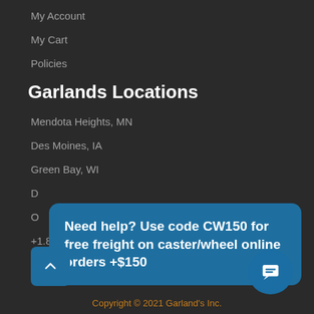My Account
My Cart
Policies
Garlands Locations
Mendota Heights, MN
Des Moines, IA
Green Bay, WI
D[partially hidden]
O[partially hidden]
+1.855.774.4199
Need help? Use code CW150 for free freight on caster/wheel online orders +$150
Copyright © 2021 Garland's Inc.